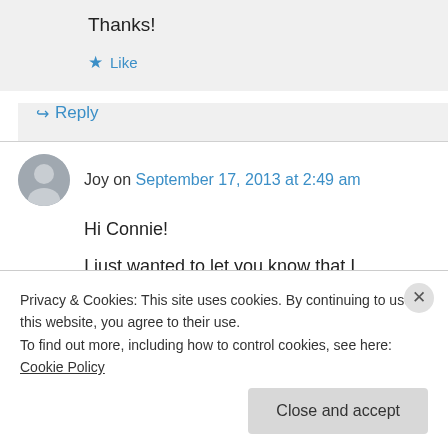Thanks!
★ Like
↪ Reply
Joy on September 17, 2013 at 2:49 am
Hi Connie!
I just wanted to let you know that I nominated your blog for a Liebster Award in my latest post,
Privacy & Cookies: This site uses cookies. By continuing to use this website, you agree to their use.
To find out more, including how to control cookies, see here: Cookie Policy
Close and accept